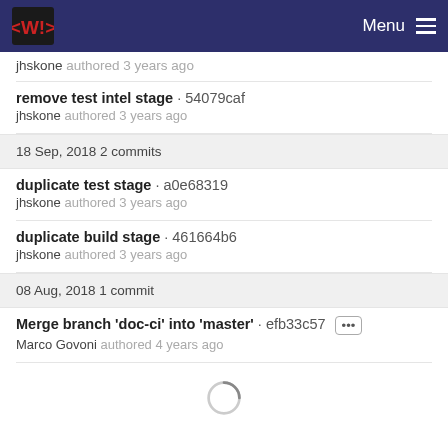Menu
jhskone authored 3 years ago
remove test intel stage · 54079caf
jhskone authored 3 years ago
18 Sep, 2018 2 commits
duplicate test stage · a0e68319
jhskone authored 3 years ago
duplicate build stage · 461664b6
jhskone authored 3 years ago
08 Aug, 2018 1 commit
Merge branch 'doc-ci' into 'master' · efb33c57 ···
Marco Govoni authored 4 years ago
[Figure (other): Loading spinner circle]